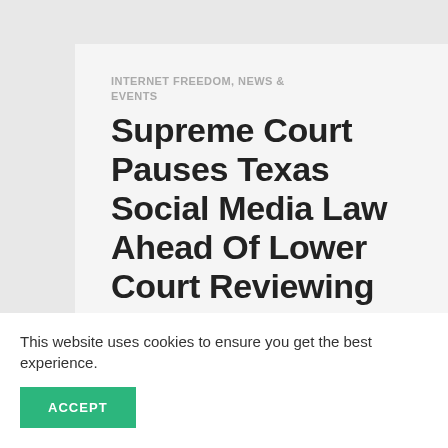INTERNET FREEDOM, NEWS & EVENTS
Supreme Court Pauses Texas Social Media Law Ahead Of Lower Court Reviewing Constitutional Concerns
By Heather Greenfield   MAY 31, 2022
Washington – The Supreme Court has iss...
This website uses cookies to ensure you get the best experience.
ACCEPT